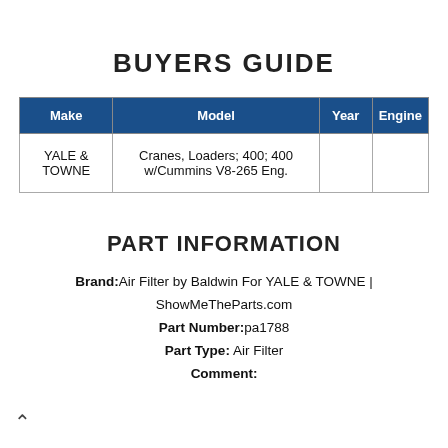BUYERS GUIDE
| Make | Model | Year | Engine |
| --- | --- | --- | --- |
| YALE & TOWNE | Cranes, Loaders; 400; 400 w/Cummins V8-265 Eng. |  |  |
PART INFORMATION
Brand: Air Filter by Baldwin For YALE & TOWNE | ShowMeTheParts.com
Part Number: pa1788
Part Type: Air Filter
Comment: